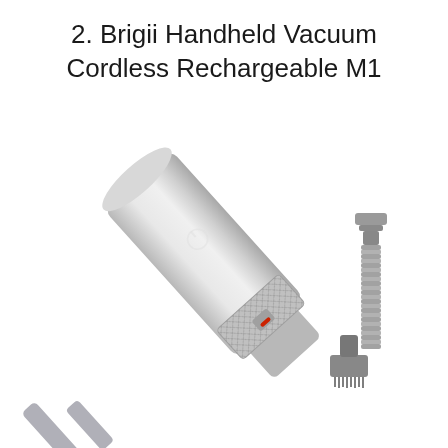2. Brigii Handheld Vacuum Cordless Rechargeable M1
[Figure (photo): Product photo of Brigii Handheld Vacuum Cordless Rechargeable M1. The main vacuum body is silver/metallic, cylindrical shaped, shown at a diagonal angle. It has a mesh filter section near the bottom with a red accent button. A long narrow handle/nozzle extends downward to the lower left. To the right side are two accessories: a flexible corrugated hose attachment at the top right, and a small brush attachment below it. Background is white.]